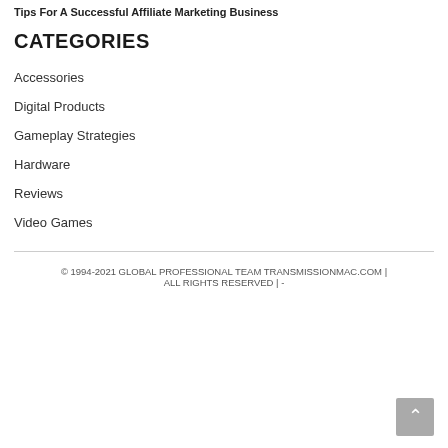Tips For A Successful Affiliate Marketing Business
CATEGORIES
Accessories
Digital Products
Gameplay Strategies
Hardware
Reviews
Video Games
© 1994-2021 GLOBAL PROFESSIONAL TEAM TRANSMISSIONMAC.COM | ALL RIGHTS RESERVED | -